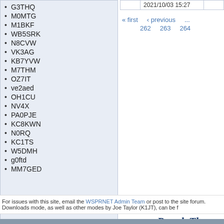G3THQ
M0MTG
M1BKF
WB5SRK
N8CVW
VK3AG
KB7YVW
M7THM
OZ7IT
ve2aed
OH1CU
NV4X
PA0PJE
KC8KWN
N0RQ
KC1TS
W5DMH
g0ftd
MM7GED
|  | 2021/10/03 15:27 |  |
| --- | --- | --- |
« first  ‹ previous  ...  262  263  264
For issues with this site, email the WSPRNET Admin Team or post to the site forum. Downloads mode, as well as other modes by Joe Taylor (K1JT), can be f
RoopleTheme